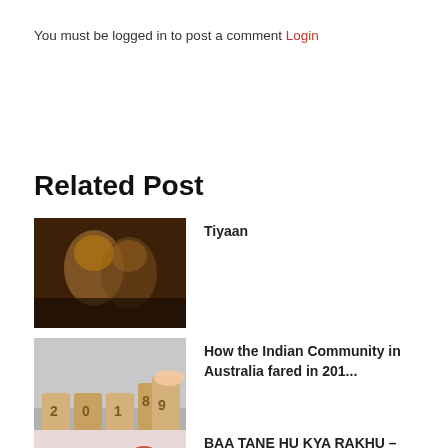You must be logged in to post a comment Login
Related Post
[Figure (photo): Dark cinematic photo of two male faces close together, warm golden tones]
Tiyaan
[Figure (photo): Wooden number blocks showing 2019, hand placing block, gray background]
How the Indian Community in Australia fared in 201...
[Figure (photo): Event poster with a woman's face and a wax seal stamp, text about Gujarati play in Brisbane]
BAA TANE HU KYA RAKHU – Gujarati Play in Melbourne...